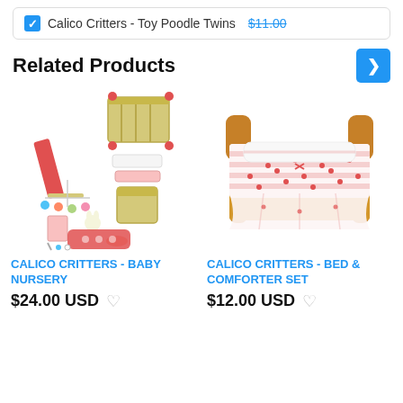Calico Critters - Toy Poodle Twins $11.00
Related Products
[Figure (photo): Calico Critters Baby Nursery set with crib, slide, mobile, high chair and accessories]
CALICO CRITTERS - BABY NURSERY
$24.00 USD
[Figure (photo): Calico Critters Bed and Comforter Set with wooden bed frame and red/white patterned bedding]
CALICO CRITTERS - BED & COMFORTER SET
$12.00 USD